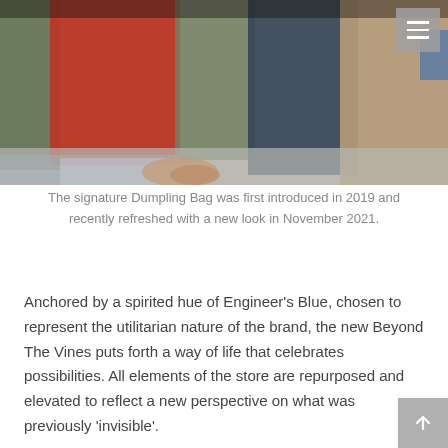[Figure (photo): Colorful clothing items hanging on a rack — red, olive green, dark navy, and beige garments visible, with a hand reaching in from below.]
The signature Dumpling Bag was first introduced in 2019 and recently refreshed with a new look in November 2021.
Anchored by a spirited hue of Engineer's Blue, chosen to represent the utilitarian nature of the brand, the new Beyond The Vines puts forth a way of life that celebrates possibilities. All elements of the store are repurposed and elevated to reflect a new perspective on what was previously 'invisible'.